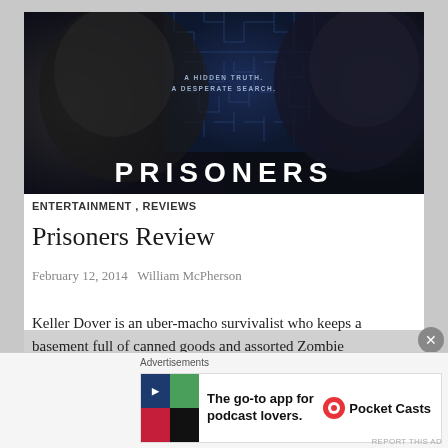[Figure (photo): Movie poster for 'Prisoners' showing two male actors' faces against a dark maze background, with tagline 'A HIDDEN TRUTH. A DESPERATE SEARCH.' and the title PRISONERS at the bottom in large white letters]
ENTERTAINMENT , REVIEWS
Prisoners Review
February 12, 2014   William McPherson
Keller Dover is an uber-macho survivalist who keeps a basement full of canned goods and assorted Zombie
[Figure (infographic): Advertisement banner: 'The go-to app for podcast lovers.' with Pocket Casts branding and colorful logo]